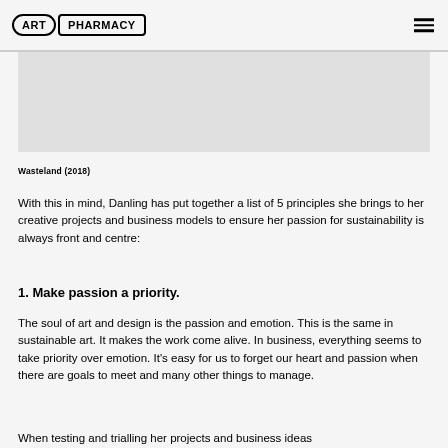ART PHARMACY
[Figure (photo): A light grey rectangular image placeholder area]
Wasteland (2018)
With this in mind, Danling has put together a list of 5 principles she brings to her creative projects and business models to ensure her passion for sustainability is always front and centre:
1. Make passion a priority.
The soul of art and design is the passion and emotion. This is the same in sustainable art. It makes the work come alive. In business, everything seems to take priority over emotion. It's easy for us to forget our heart and passion when there are goals to meet and many other things to manage.
When testing and trialling her projects and business ideas